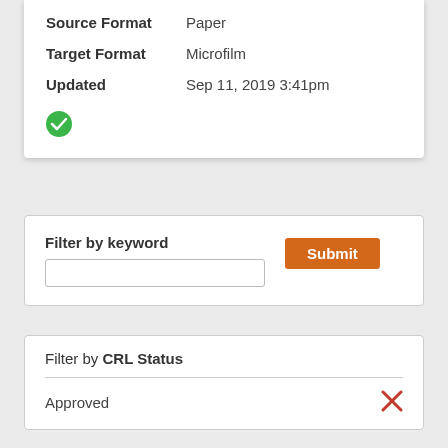Source Format   Paper
Target Format   Microfilm
Updated   Sep 11, 2019 3:41pm
[Figure (illustration): Green circle checkmark icon]
Filter by keyword
Submit
Filter by CRL Status
Approved
[Figure (illustration): Red X icon]